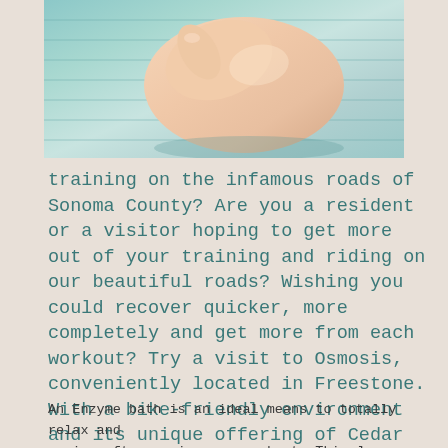[Figure (photo): Close-up photo of hands touching or massaging a leg/elbow, with teal/turquoise fabric in the background]
training on the infamous roads of Sonoma County? Are you a resident or a visitor hoping to get more out of your training and riding on our beautiful roads? Wishing you could recover quicker, more completely and get more from each workout? Try a visit to Osmosis, conveniently located in Freestone. With a bike-friendly environment and its unique offering of Cedar Enzyme Baths, Osmosis is an ideal training tool for any cyclist.
An Enzyme bath is an ideal means to totally relax and revive after a vigorous workout. This Japanese heat